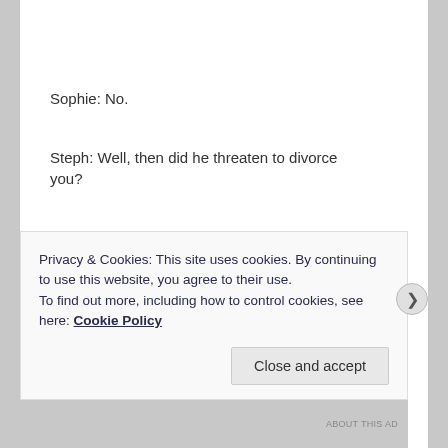Sophie: No.
Steph: Well, then did he threaten to divorce you?
Sophie: No.
Steph: Kick you out?
Sophie: No, nothing like that.
Steph: Then what? What are you so afraid of?
Privacy & Cookies: This site uses cookies. By continuing to use this website, you agree to their use.
To find out more, including how to control cookies, see here: Cookie Policy
ABOUT THIS AD